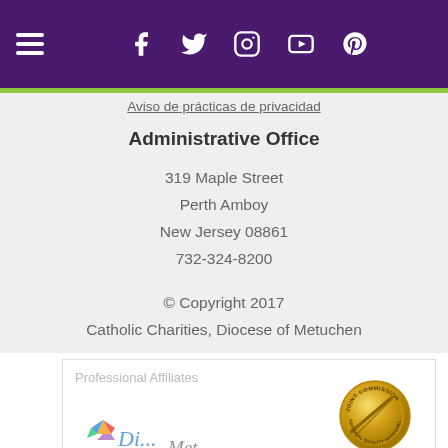Navigation bar with hamburger menu and social media icons: Facebook, Twitter, Instagram, YouTube, Pinterest
Aviso de prácticas de privacidad
Administrative Office
319 Maple Street
Perth Amboy
New Jersey 08861
732-324-8200
© Copyright 2017
Catholic Charities, Diocese of Metuchen
Professional Affiliates
[Figure (logo): Gold circular seal with 'National Quality Award' text and diagonal lines]
[Figure (logo): Colorful logo with signature/script text below, partially visible at bottom]